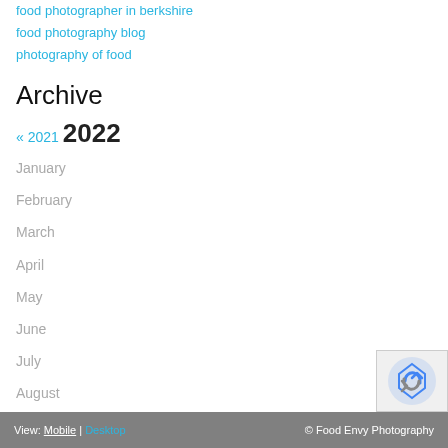food photographer in berkshire
food photography blog
photography of food
Archive
« 2021  2022
January
February
March
April
May
June
July
August
September
View: Mobile | Desktop   © Food Envy Photography